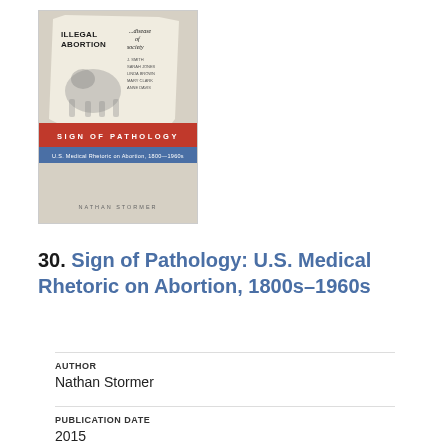[Figure (illustration): Book cover of 'Sign of Pathology: U.S. Medical Rhetoric on Abortion, 1800s-1960s' by Nathan Stormer. Cover shows a torn paper background with an image of a horse, a red band reading 'SIGN OF PATHOLOGY', a blue band with subtitle text, and author name at bottom.]
30. Sign of Pathology: U.S. Medical Rhetoric on Abortion, 1800s–1960s
AUTHOR
Nathan Stormer
PUBLICATION DATE
2015